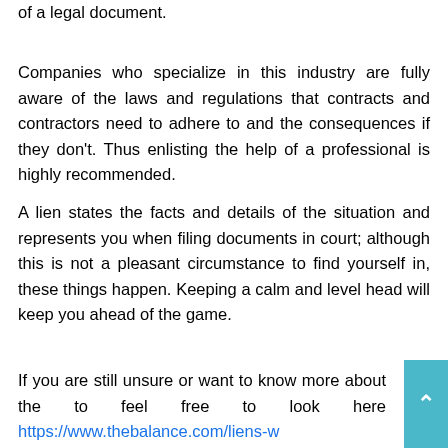of a legal document.
Companies who specialize in this industry are fully aware of the laws and regulations that contracts and contractors need to adhere to and the consequences if they don't. Thus enlisting the help of a professional is highly recommended.
A lien states the facts and details of the situation and represents you when filing documents in court; although this is not a pleasant circumstance to find yourself in, these things happen. Keeping a calm and level head will keep you ahead of the game.
If you are still unsure or want to know more about the to feel free to look here https://www.thebalance.com/liens-w they-are-and-how-they-work-315611 for an interesting and factual article on the subject, you may find the answers you